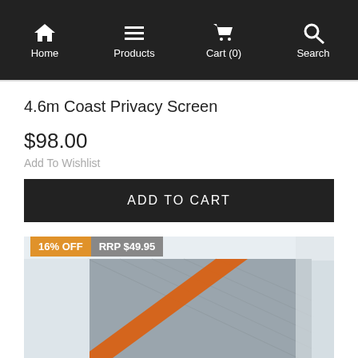Home | Products | Cart (0) | Search
4.6m Coast Privacy Screen
$98.00
Add To Wishlist
ADD TO CART
[Figure (photo): Photo of a grey privacy screen mesh with an orange strap/rope, partially unrolled or mounted on a structure. Overlaid badges: '16% OFF' in orange and 'RRP $49.95' in grey.]